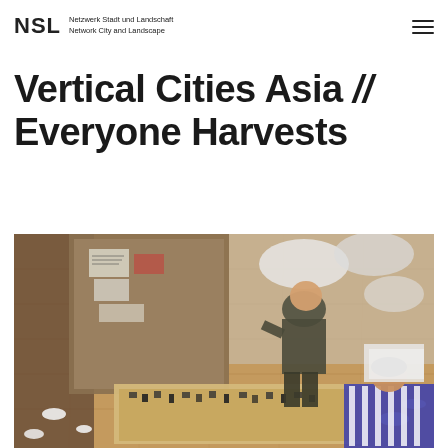NSL Netzwerk Stadt und Landschaft / Network City and Landscape
Vertical Cities Asia // Everyone Harvests
[Figure (photo): Two people working on an architectural scale model on a wooden floor in a studio setting. Cardboard panels with notes are in the background. White foam pieces and model components are scattered around. One person in a striped blue-white shirt is in the foreground working on the model.]